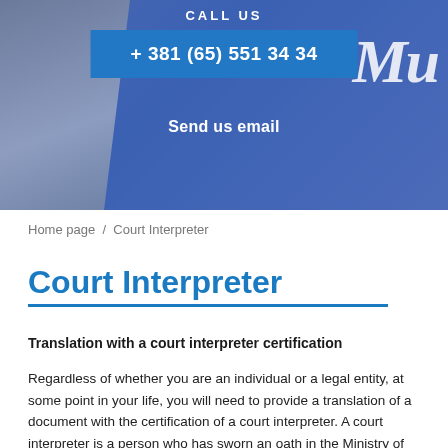[Figure (photo): Hero banner with blue gradient background, a hand partially visible on the left, decorative italic text 'Mu' on the right, a blue phone button showing '+ 381 (65) 551 34 34', and a 'Send us email' text link below.]
CALL US
+ 381 (65) 551 34 34
Send us email
Home page  /  Court Interpreter
Court Interpreter
Translation with a court interpreter certification
Regardless of whether you are an individual or a legal entity, at some point in your life, you will need to provide a translation of a document with the certification of a court interpreter. A court interpreter is a person who has sworn an oath in the Ministry of Justice in accordance with the current Rulebook on Standing Court Interpreters, and who, by placing his signature and seal, guarantees the identity of the original document and the translation thereof. The